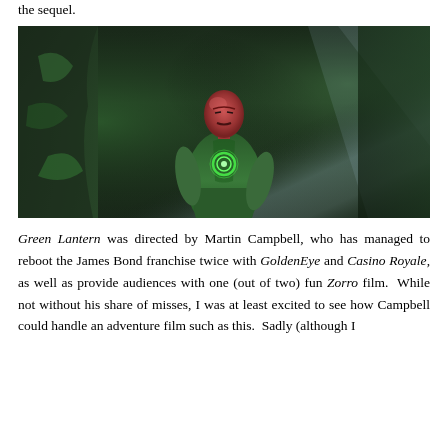the sequel.
[Figure (photo): A CGI character in a green superhero suit (resembling Sinestro from Green Lantern) standing in a rocky, green-tinted environment with light rays in the background. The character has a red/pink bald head and is wearing a green muscle suit with a Green Lantern symbol on the chest.]
Green Lantern was directed by Martin Campbell, who has managed to reboot the James Bond franchise twice with GoldenEye and Casino Royale, as well as provide audiences with one (out of two) fun Zorro film. While not without his share of misses, I was at least excited to see how Campbell could handle an adventure film such as this. Sadly (although I